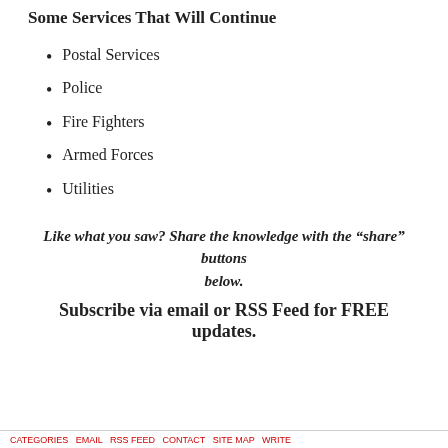Some Services That Will Continue
Postal Services
Police
Fire Fighters
Armed Forces
Utilities
Like what you saw? Share the knowledge with the “share” buttons below.
Subscribe via email or RSS Feed for FREE updates.
CATEGORIES  EMAIL   RSS FEED   CONTACT   SITE MAP   WRITE